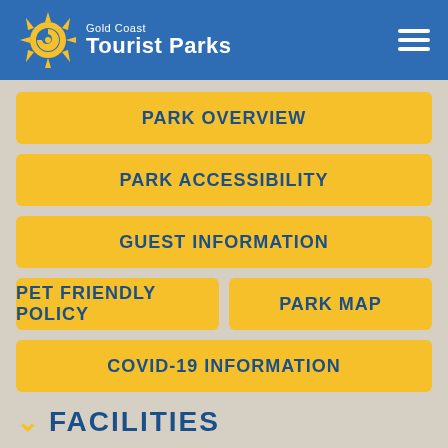Gold Coast Tourist Parks
PARK OVERVIEW
PARK ACCESSIBILITY
GUEST INFORMATION
PET FRIENDLY POLICY
PARK MAP
COVID-19 INFORMATION
FACILITIES